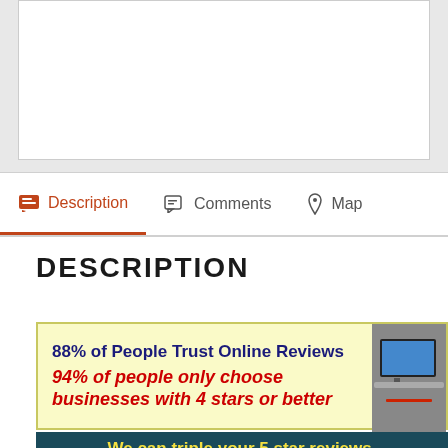[Figure (screenshot): White content box at top of page (placeholder area)]
Description | Comments | Map (tab navigation bar)
DESCRIPTION
[Figure (infographic): Yellow advertisement banner: '88% of People Trust Online Reviews' and '94% of people only choose businesses with 4 stars or better' with dark teal banner below reading 'We can triple your 5 star reviews, or more, automatically!']